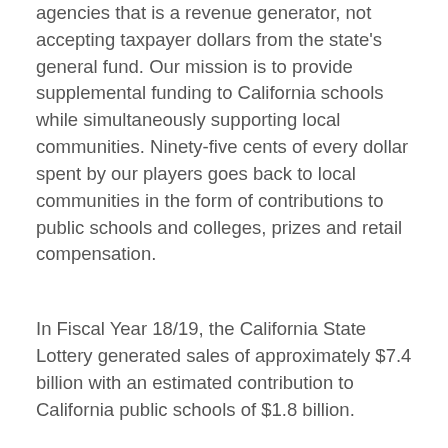agencies that is a revenue generator, not accepting taxpayer dollars from the state's general fund. Our mission is to provide supplemental funding to California schools while simultaneously supporting local communities. Ninety-five cents of every dollar spent by our players goes back to local communities in the form of contributions to public schools and colleges, prizes and retail compensation.
In Fiscal Year 18/19, the California State Lottery generated sales of approximately $7.4 billion with an estimated contribution to California public schools of $1.8 billion.
Lottery products are sold at more than 23,000 retail locations throughout the state, from independent neighborhood shops to convenience stores, liquor stores to supermarkets, and more. Retail product offerings